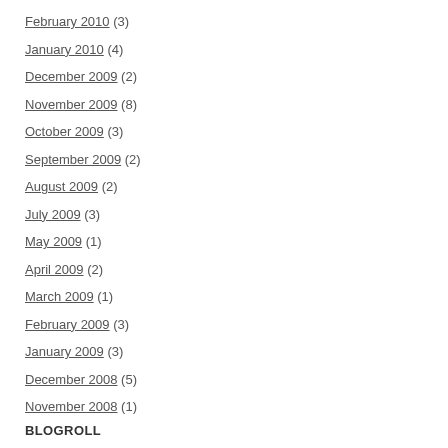February 2010 (3)
January 2010 (4)
December 2009 (2)
November 2009 (8)
October 2009 (3)
September 2009 (2)
August 2009 (2)
July 2009 (3)
May 2009 (1)
April 2009 (2)
March 2009 (1)
February 2009 (3)
January 2009 (3)
December 2008 (5)
November 2008 (1)
BLOGROLL